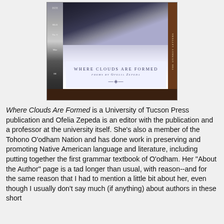[Figure (photo): Photo of a book titled 'Where Clouds Are Formed, poems by Ofelia Zepeda' on a shelf surrounded by other books]
Where Clouds Are Formed is a University of Tucson Press publication and Ofelia Zepeda is an editor with the publication and a professor at the university itself. She's also a member of the Tohono O'odham Nation and has done work in preserving and promoting Native American language and literature, including putting together the first grammar textbook of O'odham. Her "About the Author" page is a tad longer than usual, with reason--and for the same reason that I had to mention a little bit about her, even though I usually don't say much (if anything) about authors in these short